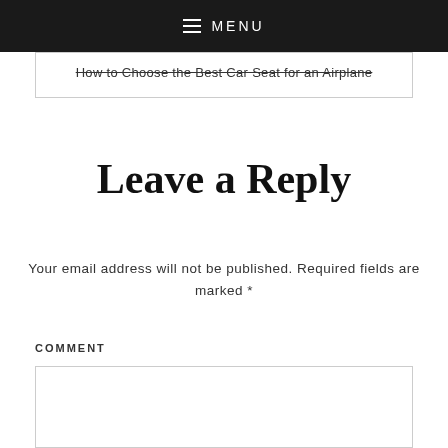MENU
How to Choose the Best Car Seat for an Airplane
Leave a Reply
Your email address will not be published. Required fields are marked *
COMMENT